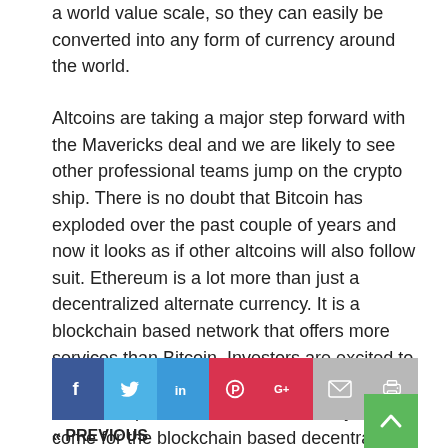a world value scale, so they can easily be converted into any form of currency around the world.
Altcoins are taking a major step forward with the Mavericks deal and we are likely to see other professional teams jump on the crypto ship. There is no doubt that Bitcoin has exploded over the past couple of years and now it looks as if other altcoins will also follow suit. Ethereum is a lot more than just a decentralized alternate currency. It is a blockchain based network that offers more services than Bitcoin. Investors are excited to see where Ethereum will go in the future and the developers claim that the best is yet to come for the blockchain based decentralized platform.
[Figure (infographic): Social media sharing bar with icons for Facebook, Twitter, LinkedIn, Pinterest, Google+, Email, and Print]
« PREVIOUS
Ethereum Gambling Now Available At BetOnline & Sportsbetting...